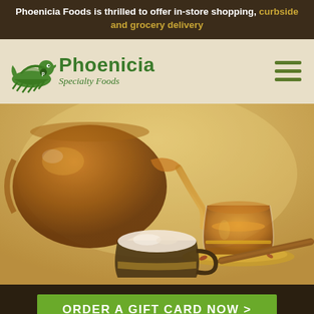Phoenicia Foods is thrilled to offer in-store shopping, curbside and grocery delivery
[Figure (logo): Phoenicia Specialty Foods logo with green bird/ship icon and green text]
[Figure (photo): Tea being poured from a glass teapot into a traditional glass tea cup on a saucer, with a coffee cup and cinnamon stick, warm amber tones]
ORDER A GIFT CARD NOW >
So much t...